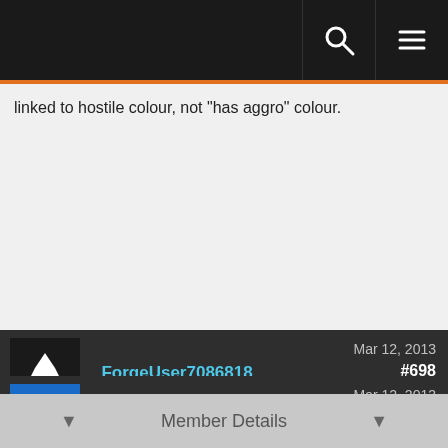navigation bar with search and menu icons
linked to hostile colour, not "has aggro" colour.
_ForgeUser7086818  Mar 12, 2013  #698
Member Details
is there a way to make the option to "Enlarge Removable Auras" to work with my warrior??
I rly like that option on my shaman or mage which have spellsteal/purge abilities.
Farmbuyer  Mar 12, 2013  #699
Member Details